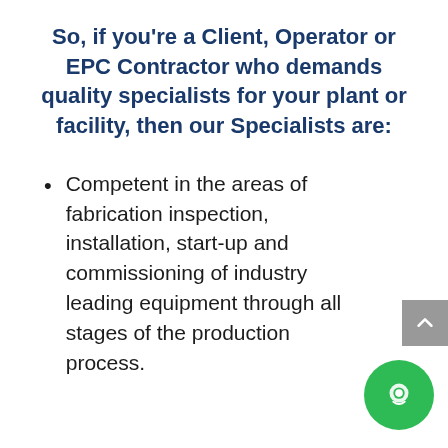So, if you're a Client, Operator or EPC Contractor who demands quality specialists for your plant or facility, then our Specialists are:
Competent in the areas of fabrication inspection, installation, start-up and commissioning of industry leading equipment through all stages of the production process.